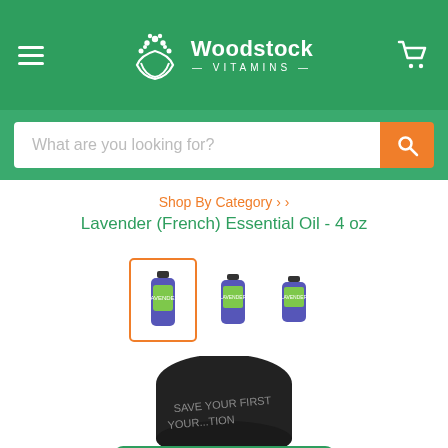[Figure (logo): Woodstock Vitamins logo with hands holding plant dots, white on green background, with hamburger menu and cart icon]
What are you looking for?
Shop By Category > >
Lavender (French) Essential Oil - 4 oz
[Figure (photo): Three blue essential oil bottles with green labels, first one highlighted with orange border]
[Figure (photo): Top of a dark glass bottle partially visible with tape reading YOUR FIRST and YOUR...TION]
Rewards Program